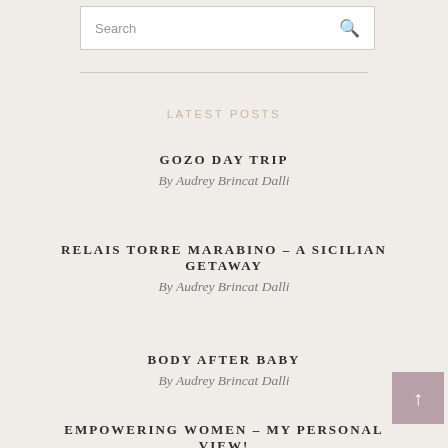[Figure (other): Search bar input field with magnifying glass icon]
LATEST POSTS
GOZO DAY TRIP
By Audrey Brincat Dalli
RELAIS TORRE MARABINO – A SICILIAN GETAWAY
By Audrey Brincat Dalli
BODY AFTER BABY
By Audrey Brincat Dalli
EMPOWERING WOMEN – MY PERSONAL VIEW!